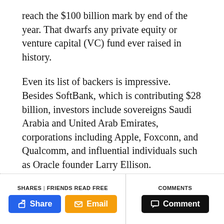reach the $100 billion mark by end of the year. That dwarfs any private equity or venture capital (VC) fund ever raised in history.
Even its list of backers is impressive. Besides SoftBank, which is contributing $28 billion, investors include sovereigns Saudi Arabia and United Arab Emirates, corporations including Apple, Foxconn, and Qualcomm, and influential individuals such as Oracle founder Larry Ellison.
The drive to invest $100 billion in emerging technology comes from Son's belief in the so-called computing singularity, or a point at which artificial
SHARES | FRIENDS READ FREE   COMMENTS   Share   Email   Comment